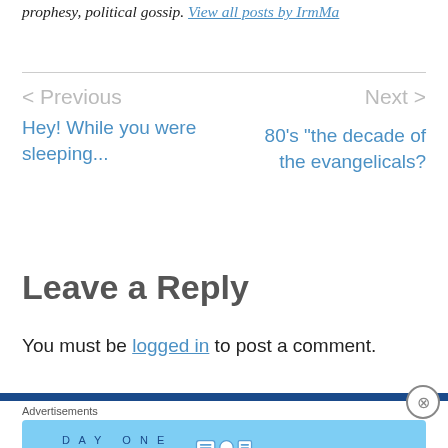prophesy, political gossip. View all posts by IrmMa
< Previous
Hey! While you were sleeping...
Next >
80’s “the decade of the evangelicals?
Leave a Reply
You must be logged in to post a comment.
Advertisements
[Figure (illustration): Day One journaling app advertisement banner with light blue background, app icons, and text: 'The only journaling app you'll ever need.']